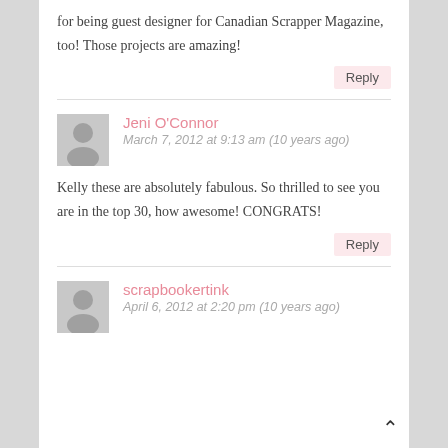for being guest designer for Canadian Scrapper Magazine, too! Those projects are amazing!
Reply
Jeni O'Connor
March 7, 2012 at 9:13 am (10 years ago)
Kelly these are absolutely fabulous. So thrilled to see you are in the top 30, how awesome! CONGRATS!
Reply
scrapbookertink
April 6, 2012 at 2:20 pm (10 years ago)